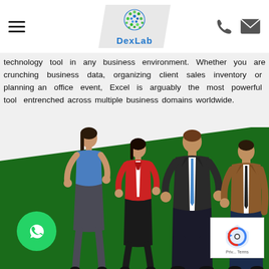DexLab
technology tool in any business environment. Whether you are crunching business data, organizing client sales inventory or planning an office event, Excel is arguably the most powerful tool entrenched across multiple business domains worldwide.
[Figure (illustration): Illustration of four business professionals (two women, two men) standing on a green diagonal background. A woman in blue top and grey skirt, a woman in red blazer and black skirt, a man in dark suit with blue tie, and a man in brown blazer and navy trousers.]
[Figure (other): WhatsApp floating button (green circle with phone icon)]
[Figure (other): reCAPTCHA widget in bottom right corner]